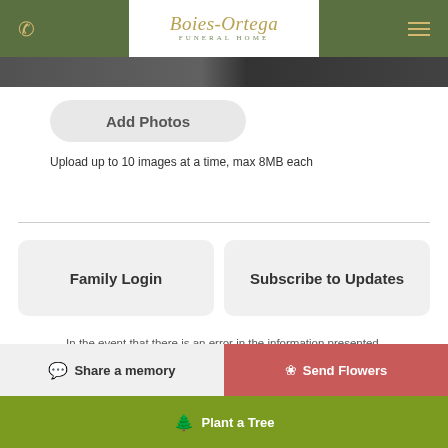Boies-Ortega Funeral Home
[Figure (screenshot): Partially visible photo strip at top of page]
Add Photos
Upload up to 10 images at a time, max 8MB each
Family Login
Subscribe to Updates
In the event that there is an error in the information presented, please contact the funeral home by clicking here.
Share a memory
Send Flowers
Plant a Tree